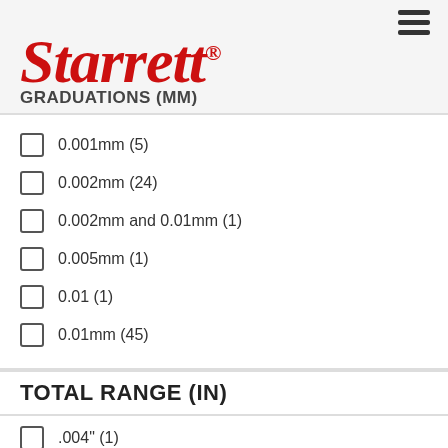Starrett® GRADUATIONS (MM)
0.001mm (5)
0.002mm (24)
0.002mm and 0.01mm (1)
0.005mm (1)
0.01 (1)
0.01mm (45)
TOTAL RANGE (IN)
.004" (1)
.015" (5)
.020" (8)